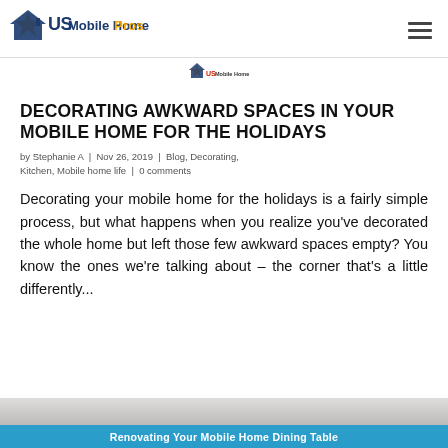US Mobile Home Pros
[Figure (logo): US Mobile Home Pros logo with star and house icon, text in dark blue and gold]
[Figure (logo): Small US Mobile Home Pros logo centered below divider]
DECORATING AWKWARD SPACES IN YOUR MOBILE HOME FOR THE HOLIDAYS
by Stephanie A | Nov 26, 2019 | Blog, Decorating, Kitchen, Mobile home life | 0 comments
Decorating your mobile home for the holidays is a fairly simple process, but what happens when you realize you've decorated the whole home but left those few awkward spaces empty? You know the ones we're talking about – the corner that's a little differently...
Renovating Your Mobile Home Dining Table